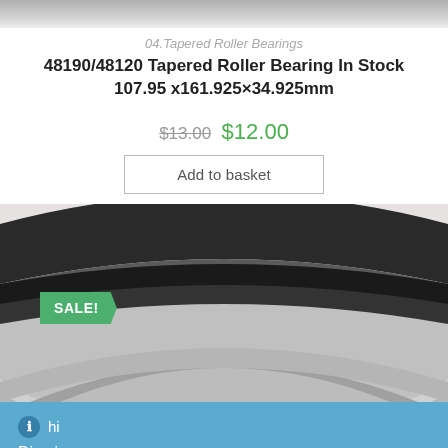[Figure (photo): Top portion of a tapered roller bearing product image (cropped at top)]
04.Tapered Roller Bearings
48190/48120 Tapered Roller Bearing In Stock 107.95 x161.925×34.925mm
$13.00 $12.00
Add to basket
[Figure (photo): Close-up photo of a tapered roller bearing sitting on white packaging material, showing the inner ring and roller assembly from above. A green SALE! badge is overlaid on the lower left.]
hi
Dismiss